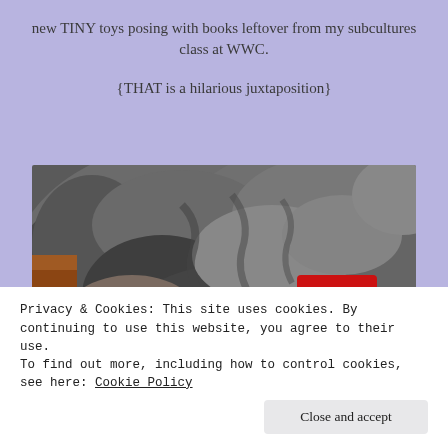new TINY toys posing with books leftover from my subcultures class at WWC.
{THAT is a hilarious juxtaposition}
[Figure (photo): Close-up photo of a sleeping cat with grey fur, with a tiny miniature red Etch A Sketch toy placed on its back/side.]
Privacy & Cookies: This site uses cookies. By continuing to use this website, you agree to their use.
To find out more, including how to control cookies, see here: Cookie Policy
Close and accept